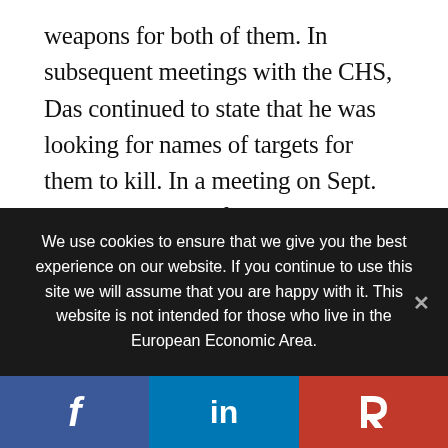weapons for both of them. In subsequent meetings with the CHS, Das continued to state that he was looking for names of targets for them to kill. In a meeting on Sept. 11, 2016, Das confirmed that he was committed “100%” to conducting an attack and, “That’s like my goal in life.” In a meeting the following day, Das stated that he wanted to get paid by ISIL for future killings, but would do it for free as well. Das further confirmed that he specifically wanted to target U.S. military personnel.
We use cookies to ensure that we give you the best experience on our website. If you continue to use this site we will assume that you are happy with it. This website is not intended for those who live in the European Economic Area.
Facebook | LinkedIn | Parler social share buttons